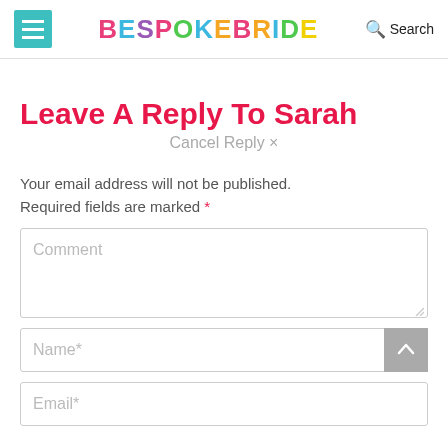BESPOKE BRIDE — Search
Leave A Reply To Sarah
Cancel Reply ×
Your email address will not be published. Required fields are marked *